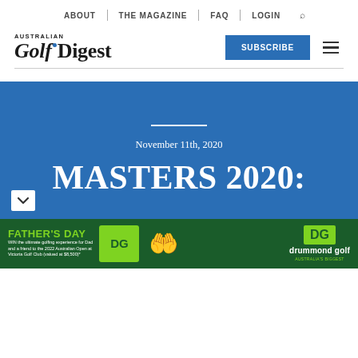ABOUT | THE MAGAZINE | FAQ | LOGIN
[Figure (logo): Australian Golf Digest logo with blue dot]
SUBSCRIBE
November 11th, 2020
MASTERS 2020:
[Figure (infographic): Father's Day advertisement for Drummond Golf - win the ultimate golfing experience for Dad and a friend to the 2022 Australian Open at Victoria Golf Club (valued at $8,500)*]